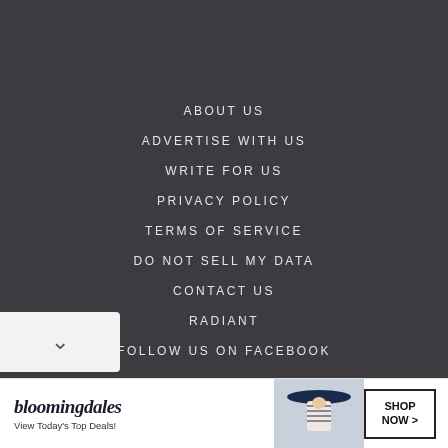ABOUT US
ADVERTISE WITH US
WRITE FOR US
PRIVACY POLICY
TERMS OF SERVICE
DO NOT SELL MY DATA
CONTACT US
RADIANT
FOLLOW US ON FACEBOOK
[Figure (screenshot): Bloomingdale's advertisement banner: logo text 'bloomingdales', tagline 'View Today's Top Deals!', photo of woman in blue wide-brim hat, 'SHOP NOW >' button with black border]